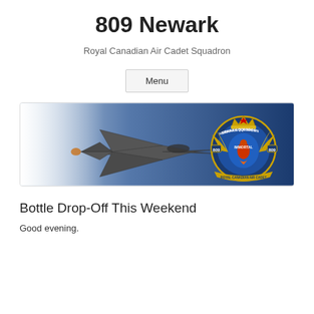809 Newark
Royal Canadian Air Cadet Squadron
Menu
[Figure (illustration): Website banner image showing an F-35 stealth fighter jet on the left against a blue gradient background, and the 809 Newark Royal Canadian Air Cadet Squadron circular badge/crest on the right, featuring a phoenix bird with gold wings, a crown on top, and text reading 'Newark Squadron', '809', 'Immortal', and 'Royal Canadian Air Cadets'.]
Bottle Drop-Off This Weekend
Good evening.